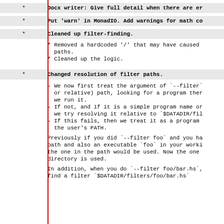Docx writer: Give full detail when there are er
Put 'warn' in MonadIO. Add warnings for math co
Cleaned up filter-finding.
* Removed a hardcoded '/' that may have caused paths.
* Cleaned up the logic.
Changed resolution of filter paths.
- We now first treat the argument of `--filter` or relative) path, looking for a program ther we run it.
- If not, and if it is a simple program name or we try resolving it relative to `$DATADIR/fil
- If this fails, then we treat it as a program the user's PATH.
Previously if you did `--filter foo` and you ha path and also an executable `foo` in your worki the one in the path would be used. Now the one directory is used.
In addition, when you do `--filter foo/bar.hs`, find a filter `$DATADIR/filters/foo/bar.hs`